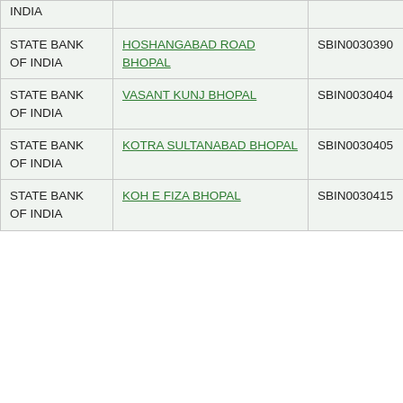| Bank Name | Branch | IFSC | MICR |
| --- | --- | --- | --- |
| STATE BANK OF INDIA | HOSHANGABAD ROAD BHOPAL | SBIN0030390 | 462005014 |
| STATE BANK OF INDIA | VASANT KUNJ BHOPAL | SBIN0030404 | 462005015 |
| STATE BANK OF INDIA | KOTRA SULTANABAD BHOPAL | SBIN0030405 | 462005016 |
| STATE BANK OF INDIA | KOH E FIZA BHOPAL | SBIN0030415 | 462005017 |